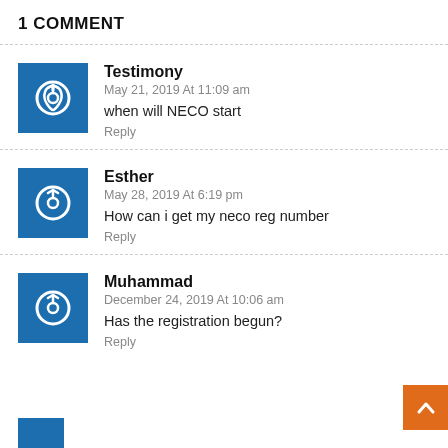1 COMMENT
Testimony
May 21, 2019 At 11:09 am
when will NECO start
Reply
Esther
May 28, 2019 At 6:19 pm
How can i get my neco reg number
Reply
Muhammad
December 24, 2019 At 10:06 am
Has the registration begun?
Reply